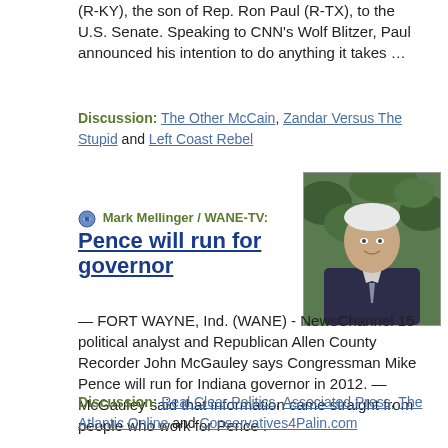(R-KY), the son of Rep. Ron Paul (R-TX), to the U.S. Senate. Speaking to CNN's Wolf Blitzer, Paul announced his intention to do anything it takes …
Discussion: The Other McCain, Zandar Versus The Stupid and Left Coast Rebel
Mark Mellinger / WANE-TV:
Pence will run for governor
[Figure (photo): Photo of Mike Pence in a suit and tie, outdoors with green foliage background]
— FORT WAYNE, Ind. (WANE) - NewsChannel 15 political analyst and Republican Allen County Recorder John McGauley says Congressman Mike Pence will run for Indiana governor in 2012. — McGauley said that information came straight from people who work for Pence .
Discussion: Real Clear Politics, Associated Press, The Atlantic Online and Conservatives4Palin.com
Michael Tomasky / Guardian:
Turnout: explains a lot |